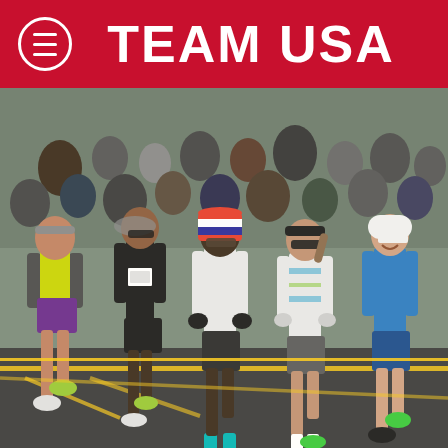TEAM USA
[Figure (photo): Group of female marathon runners crouched at the start line of what appears to be the US Olympic Marathon Trials. Runners are in various athletic outfits with race bibs. An NBC logo is visible in the background. Yellow lines mark the starting line on the road. Spectators and cameras are visible in the background.]